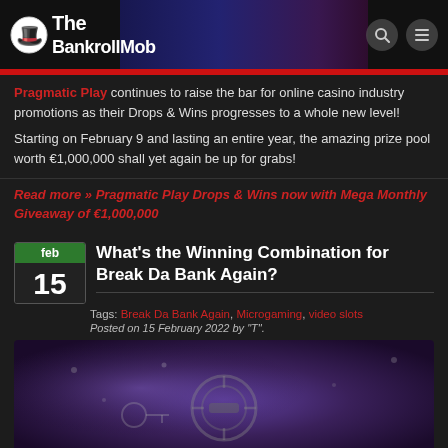The BankrollMob
Pragmatic Play continues to raise the bar for online casino industry promotions as their Drops & Wins progresses to a whole new level!
Starting on February 9 and lasting an entire year, the amazing prize pool worth €1,000,000 shall yet again be up for grabs!
Read more » Pragmatic Play Drops & Wins now with Mega Monthly Giveaway of €1,000,000
What's the Winning Combination for Break Da Bank Again?
Tags: Break Da Bank Again, Microgaming, video slots
Posted on 15 February 2022 by "T".
[Figure (photo): Casino/slot machine themed image with dark purple/blue tones, showing what appears to be a bank vault or slot machine components]